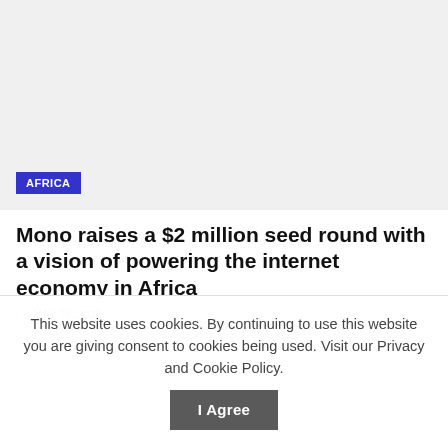[Figure (photo): Light gray image placeholder area with an AFRICA category tag overlay in the bottom left corner]
Mono raises a $2 million seed round with a vision of powering the internet economy in Africa
MAY 25, 2021
This website uses cookies. By continuing to use this website you are giving consent to cookies being used. Visit our Privacy and Cookie Policy.